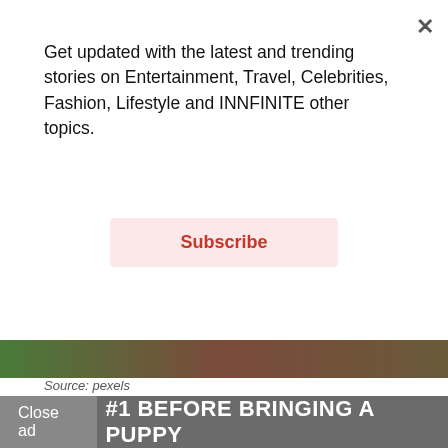Get updated with the latest and trending stories on Entertainment, Travel, Celebrities, Fashion, Lifestyle and INNFINITE other topics.
Subscribe
[Figure (photo): Partial image strip showing green and red tones, likely a nature or dog photo]
Source: pexels
In India, lack of knowledge and commitment make things pathetic. People, most importantly the dog suffers. Some heartless and cruel individuals even end up abandoning them. Let's hope that never happens to anyone! If millions of people can have a dog and raise well, you can have one too. Here are a few things you should keep in mind – – –
Close ad
#1 BEFORE BRINGING A PUPPY